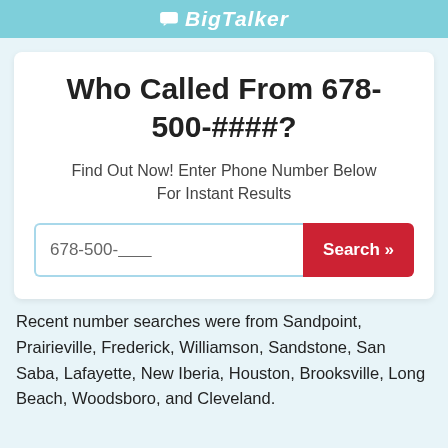BigTalker
Who Called From 678-500-####?
Find Out Now! Enter Phone Number Below For Instant Results
Recent number searches were from Sandpoint, Prairieville, Frederick, Williamson, Sandstone, San Saba, Lafayette, New Iberia, Houston, Brooksville, Long Beach, Woodsboro, and Cleveland.